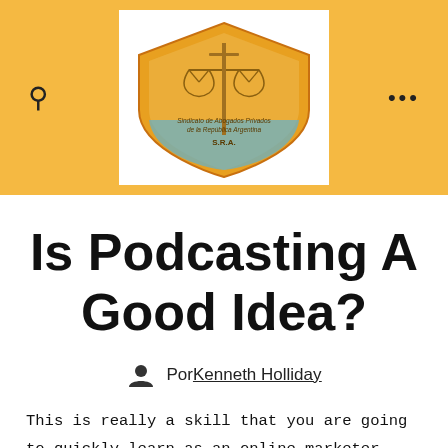Sindicato de Abogados Privados de la República Argentina - S.R.A.
Is Podcasting A Good Idea?
Por Kenneth Holliday
This is really a skill that you are going to quickly learn as an online marketer. You have to be given the option to know what's selling and what's